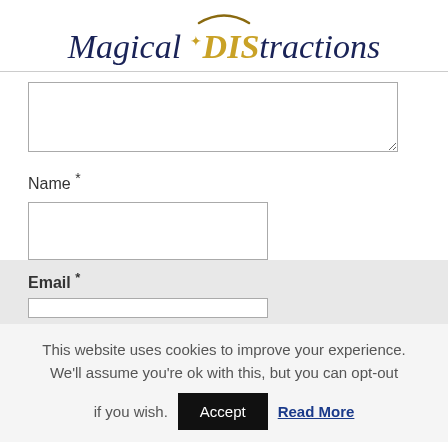[Figure (logo): Magical DIStractions logo with arc/crescent above, script text in navy and gold]
Name *
Email *
This website uses cookies to improve your experience. We'll assume you're ok with this, but you can opt-out if you wish.
Accept
Read More